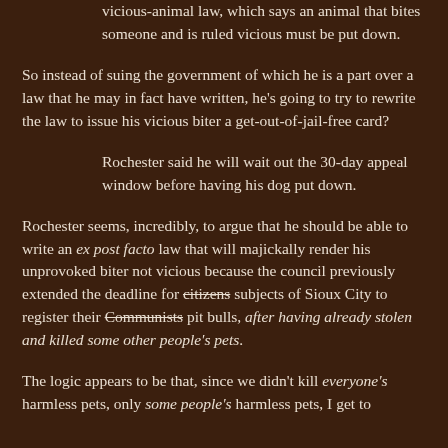vicious-animal law, which says an animal that bites someone and is ruled vicious must be put down.
So instead of suing the government of which he is a part over a law that he may in fact have written, he's going to try to rewrite the law to issue his vicious biter a get-out-of-jail-free card?
Rochester said he will wait out the 30-day appeal window before having his dog put down.
Rochester seems, incredibly, to argue that he should be able to write an ex post facto law that will majickally render his unprovoked biter not vicious because the council previously extended the deadline for citizens subjects of Sioux City to register their Communists pit bulls, after having already stolen and killed some other people's pets.
The logic appears to be that, since we didn't kill everyone's harmless pets, only some people's harmless pets, I get to